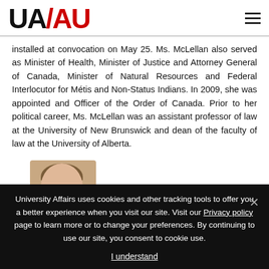[Figure (logo): UA/AU University Affairs logo in black and red]
installed at convocation on May 25. Ms. McLellan also served as Minister of Health, Minister of Justice and Attorney General of Canada, Minister of Natural Resources and Federal Interlocutor for Métis and Non-Status Indians. In 2009, she was appointed and Officer of the Order of Canada. Prior to her political career, Ms. McLellan was an assistant professor of law at the University of New Brunswick and dean of the faculty of law at the University of Alberta.
[Figure (photo): Partial photo of a person's head and shoulders, top portion visible]
University Affairs uses cookies and other tracking tools to offer you a better experience when you visit our site. Visit our Privacy policy page to learn more or to change your preferences. By continuing to use our site, you consent to cookie use.
I understand